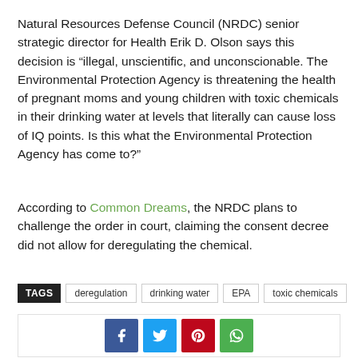Natural Resources Defense Council (NRDC) senior strategic director for Health Erik D. Olson says this decision is “illegal, unscientific, and unconscionable. The Environmental Protection Agency is threatening the health of pregnant moms and young children with toxic chemicals in their drinking water at levels that literally can cause loss of IQ points. Is this what the Environmental Protection Agency has come to?”
According to Common Dreams, the NRDC plans to challenge the order in court, claiming the consent decree did not allow for deregulating the chemical.
TAGS   deregulation   drinking water   EPA   toxic chemicals